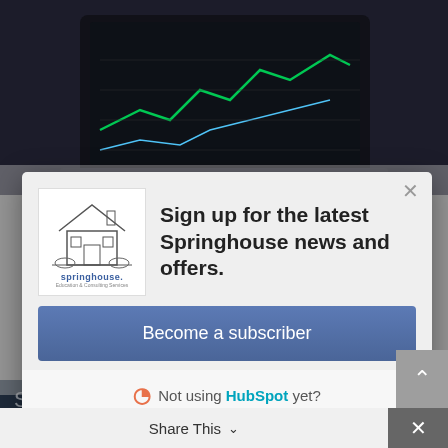[Figure (screenshot): Dark background showing a laptop with financial chart on screen, partially visible]
[Figure (screenshot): Modal popup dialog with Springhouse logo, newsletter signup prompt, Become a subscriber button, and HubSpot branding]
Springhouse's consultants brought expertise in all aspects of SharePoint's potential, as they worked side by side with the SharePoint administrators of our
Share This ∨
✕